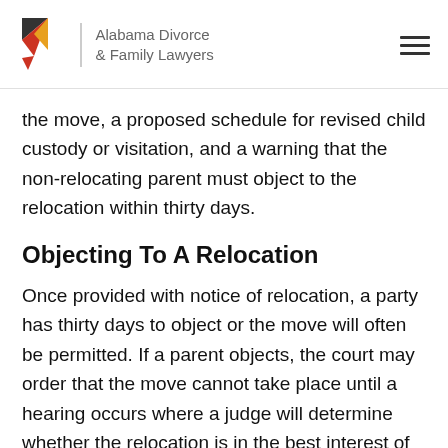Alabama Divorce & Family Lawyers
the move, a proposed schedule for revised child custody or visitation, and a warning that the non-relocating parent must object to the relocation within thirty days.
Objecting To A Relocation
Once provided with notice of relocation, a party has thirty days to object or the move will often be permitted. If a parent objects, the court may order that the move cannot take place until a hearing occurs where a judge will determine whether the relocation is in the best interest of all involved